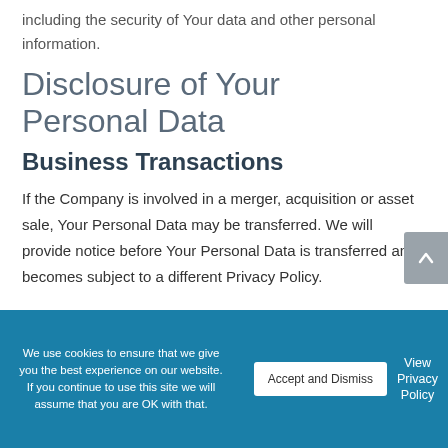including the security of Your data and other personal information.
Disclosure of Your Personal Data
Business Transactions
If the Company is involved in a merger, acquisition or asset sale, Your Personal Data may be transferred. We will provide notice before Your Personal Data is transferred and becomes subject to a different Privacy Policy.
We use cookies to ensure that we give you the best experience on our website. If you continue to use this site we will assume that you are OK with that.
Accept and Dismiss
View Privacy Policy